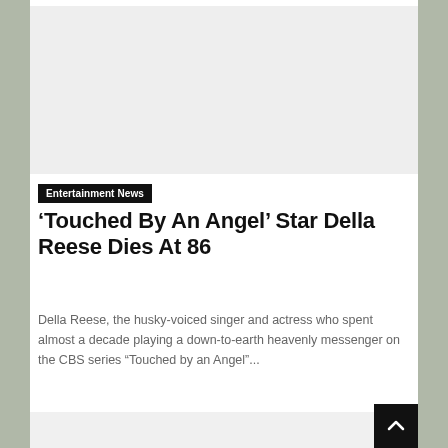[Figure (other): Gray advertisement placeholder box at top of page]
Entertainment News
'Touched By An Angel' Star Della Reese Dies At 86
Della Reese, the husky-voiced singer and actress who spent almost a decade playing a down-to-earth heavenly messenger on the CBS series “Touched by an Angel”...
[Figure (other): Gray advertisement placeholder box at bottom of page]